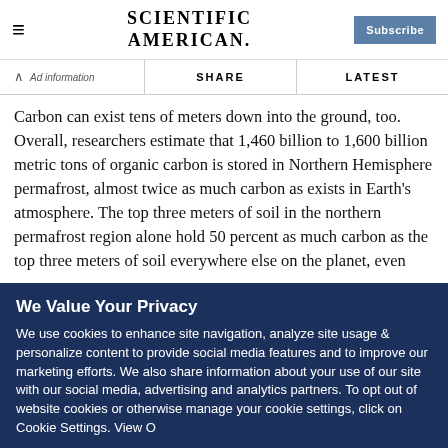Scientific American | Subscribe
SHARE | LATEST
Carbon can exist tens of meters down into the ground, too. Overall, researchers estimate that 1,460 billion to 1,600 billion metric tons of organic carbon is stored in Northern Hemisphere permafrost, almost twice as much carbon as exists in Earth's atmosphere. The top three meters of soil in the northern permafrost region alone hold 50 percent as much carbon as the top three meters of soil everywhere else on the planet, even
We Value Your Privacy
We use cookies to enhance site navigation, analyze site usage & personalize content to provide social media features and to improve our marketing efforts. We also share information about your use of our site with our social media, advertising and analytics partners. To opt out of website cookies or otherwise manage your cookie settings, click on Cookie Settings. View O…